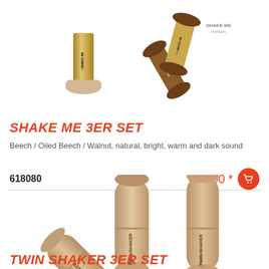[Figure (photo): Photo of Shake Me 3er Set shakers - three wooden shakers with gold metallic bodies, showing beech, oiled beech, and walnut variants]
SHAKE ME 3ER SET
Beech / Oiled Beech / Walnut, natural, bright, warm and dark sound
618080   €21.90 *
[Figure (photo): Photo of Twin Shaker 3er Set - three cylindrical wooden shakers in light beech color, labeled TWIN SHAKER]
TWIN SHAKER 3ER SET